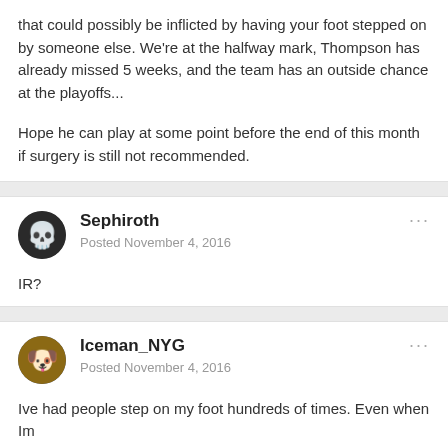that could possibly be inflicted by having your foot stepped on by someone else. We're at the halfway mark, Thompson has already missed 5 weeks, and the team has an outside chance at the playoffs...
Hope he can play at some point before the end of this month if surgery is still not recommended.
Sephiroth
Posted November 4, 2016
IR?
Iceman_NYG
Posted November 4, 2016
Ive had people step on my foot hundreds of times. Even when Im